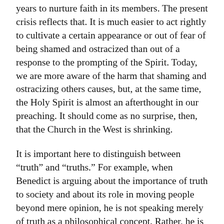years to nurture faith in its members. The present crisis reflects that. It is much easier to act rightly to cultivate a certain appearance or out of fear of being shamed and ostracized than out of a response to the prompting of the Spirit. Today, we are more aware of the harm that shaming and ostracizing others causes, but, at the same time, the Holy Spirit is almost an afterthought in our preaching. It should come as no surprise, then, that the Church in the West is shrinking.
It is important here to distinguish between “truth” and “truths.” For example, when Benedict is arguing about the importance of truth to society and about its role in moving people beyond mere opinion, he is not speaking merely of truth as a philosophical concept. Rather, he is speaking of truth as a person. “[Jesus] himself is the truth,” writes Pope Benedict in Caritas in Veritate. It is an impoverishment of Christianity to insist on truths–